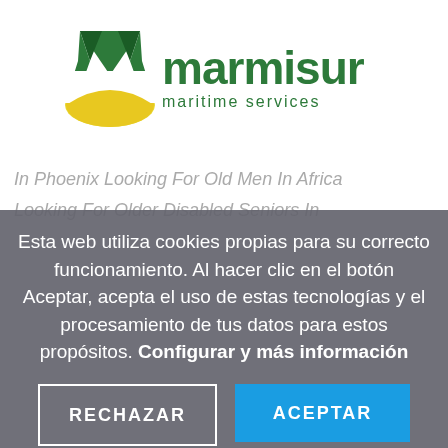[Figure (logo): Marmisur maritime services logo — green stylized M with yellow half-circle at bottom, followed by bold green text 'marmisur' and subtitle 'maritime services']
In Phoenix Looking For Old Men In Africa
Looking For Older Disabled Seniors In
Esta web utiliza cookies propias para su correcto funcionamiento. Al hacer clic en el botón Aceptar, acepta el uso de estas tecnologías y el procesamiento de tus datos para estos propósitos. Configurar y más información
RECHAZAR
ACEPTAR